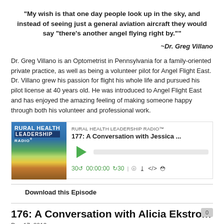“My wish is that one day people look up in the sky, and instead of seeing just a general aviation aircraft they would say “there’s another angel flying right by.””
~Dr. Greg Villano
Dr. Greg Villano is an Optometrist in Pennsylvania for a family-oriented private practice, as well as being a volunteer pilot for Angel Flight East. Dr. Villano grew his passion for flight his whole life and pursued his pilot license at 40 years old. He was introduced to Angel Flight East and has enjoyed the amazing feeling of making someone happy through both his volunteer and professional work.
[Figure (screenshot): Podcast player widget for Rural Health Leadership Radio episode 177: A Conversation with Jessica ...]
Download this Episode
176: A Conversation with Alicia Ekstrom
Dec 17, 2019